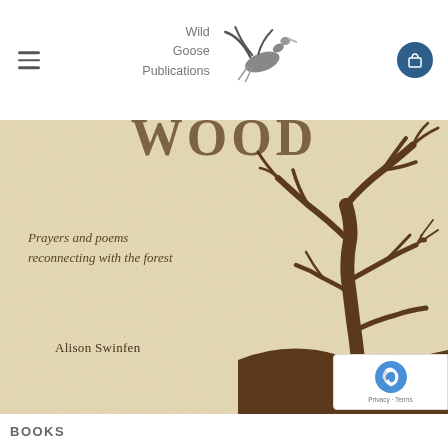Wild Goose Publications
[Figure (illustration): Book cover of a Wild Goose Publications title showing a parchment-colored background with a bare tree silhouette on the right, subtitle text 'Prayers and poems reconnecting with the forest' and author name 'Alison Swinfen']
BOOKS